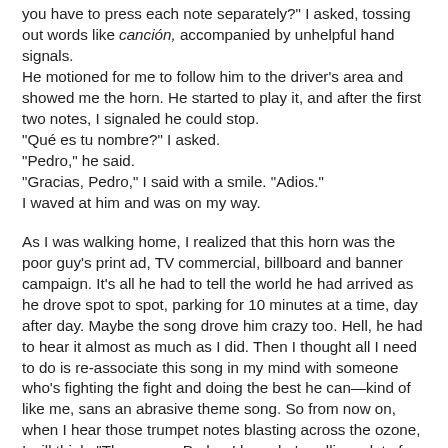you have to press each note separately?" I asked, tossing out words like canción, accompanied by unhelpful hand signals.
He motioned for me to follow him to the driver's area and showed me the horn. He started to play it, and after the first two notes, I signaled he could stop.
"Qué es tu nombre?" I asked.
"Pedro," he said.
"Gracias, Pedro," I said with a smile. "Adios."
I waved at him and was on my way.
As I was walking home, I realized that this horn was the poor guy's print ad, TV commercial, billboard and banner campaign. It's all he had to tell the world he had arrived as he drove spot to spot, parking for 10 minutes at a time, day after day. Maybe the song drove him crazy too. Hell, he had to hear it almost as much as I did. Then I thought all I need to do is re-associate this song in my mind with someone who's fighting the fight and doing the best he can—kind of like me, sans an abrasive theme song. So from now on, when I hear those trumpet notes blasting across the ozone, I will think, "There goes Pedro. I hope he's selling a lot of fruit.